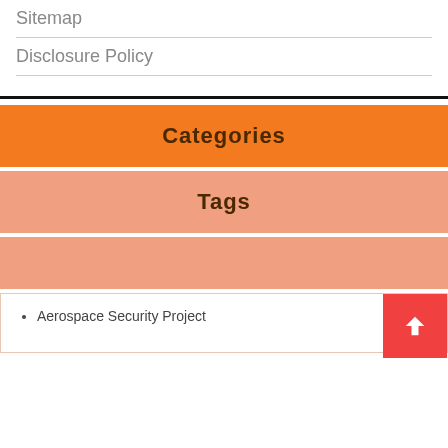Sitemap
Disclosure Policy
Categories
Tags
Aerospace Security Project